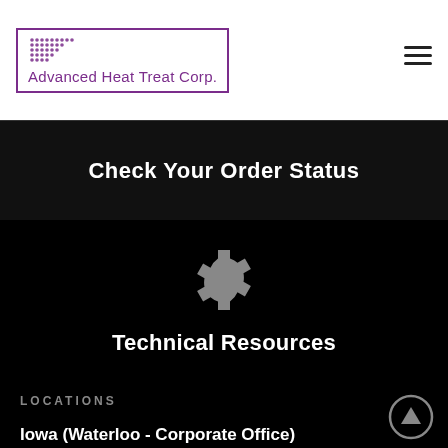[Figure (logo): Advanced Heat Treat Corp. logo with dotted pattern inside a purple rectangle border and company name below]
Check Your Order Status
[Figure (illustration): Gray gear/settings icon on black background]
Technical Resources
LOCATIONS
Iowa (Waterloo - Corporate Office)
Alabama (Cullman)
Iowa (Waterloo - Burton Ave)